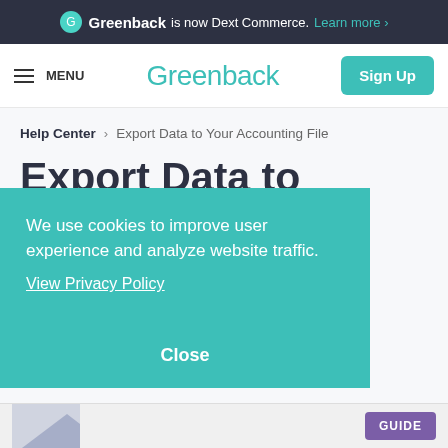Greenback is now Dext Commerce. Learn more ›
MENU | Greenback | Sign Up
Help Center > Export Data to Your Accounting File
Export Data to Your Accounting
We use cookies to improve user experience and analyze website traffic.
View Privacy Policy

Close